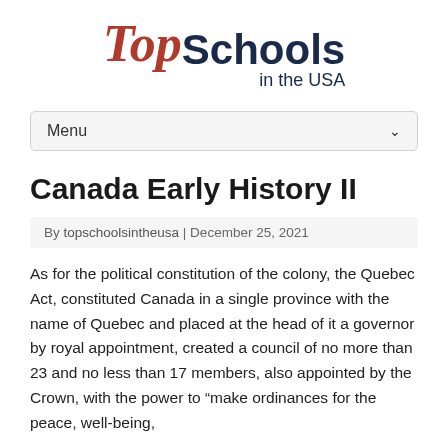[Figure (logo): Top Schools in the USA logo with 'Top' in italic red serif font and 'Schools in the USA' in bold dark navy sans-serif font]
Menu
Canada Early History II
By topschoolsintheusa | December 25, 2021
As for the political constitution of the colony, the Quebec Act, constituted Canada in a single province with the name of Quebec and placed at the head of it a governor by royal appointment, created a council of no more than 23 and no less than 17 members, also appointed by the Crown, with the power to “make ordinances for the peace, well-being,